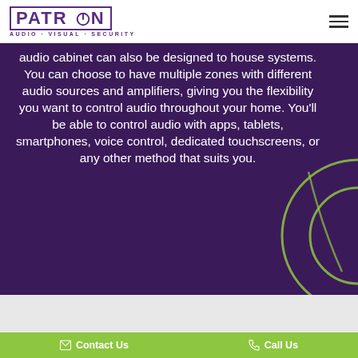[Figure (logo): PATRON Audio Visual Security logo with purple border and power button icon]
audio cabinet can also be designed to house systems. You can choose to have multiple zones with different audio sources and amplifiers, giving you the flexibility you want to control audio throughout your home. You’ll be able to control audio with apps, tablets, smartphones, voice control, dedicated touchscreens, or any other method that suits you.
[Figure (illustration): Decorative green circular headphone outline on purple background]
Contact Us
Call Us